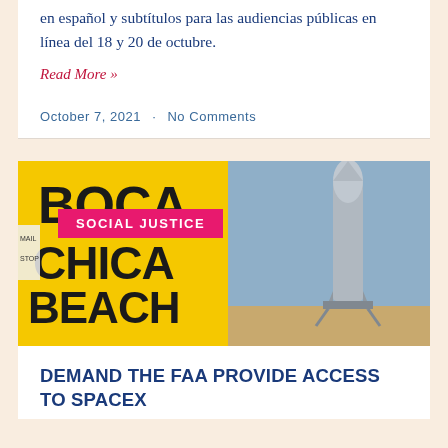en español y subtítulos para las audiencias públicas en línea del 18 y 20 de octubre.
Read More »
October 7, 2021  ·  No Comments
[Figure (photo): Photo showing a yellow sign reading BOCA CHICA BEACH CLOSED on the left, and a SpaceX Starship rocket on the right against a blue sky, with a pink SOCIAL JUSTICE badge overlay.]
DEMAND THE FAA PROVIDE ACCESS TO SPACEX